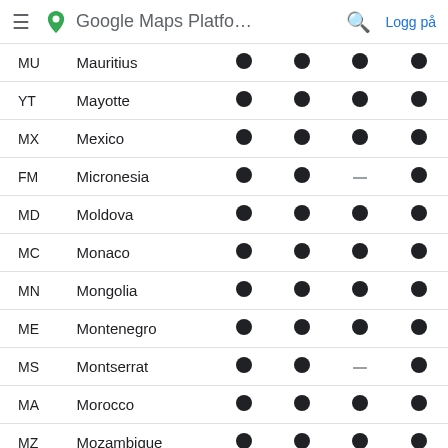Google Maps Platfo... Logg på
| Code | Country | Col1 | Col2 | Col3 | Col4 |
| --- | --- | --- | --- | --- | --- |
| MU | Mauritius | ● | ● | ● | ● |
| YT | Mayotte | ● | ● | ● | ● |
| MX | Mexico | ● | ● | ● | ● |
| FM | Micronesia | ● | ● | – | ● |
| MD | Moldova | ● | ● | ● | ● |
| MC | Monaco | ● | ● | ● | ● |
| MN | Mongolia | ● | ● | ● | ● |
| ME | Montenegro | ● | ● | ● | ● |
| MS | Montserrat | ● | ● | – | ● |
| MA | Morocco | ● | ● | ● | ● |
| MZ | Mozambique | ● | ● | ● | ● |